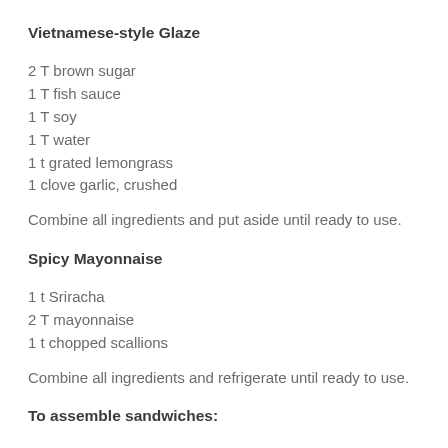Vietnamese-style Glaze
2 T brown sugar
1 T fish sauce
1 T soy
1 T water
1 t grated lemongrass
1 clove garlic, crushed
Combine all ingredients and put aside until ready to use.
Spicy Mayonnaise
1 t Sriracha
2 T mayonnaise
1 t chopped scallions
Combine all ingredients and refrigerate until ready to use.
To assemble sandwiches: